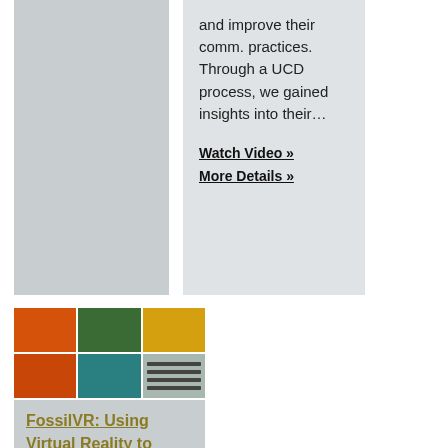[Figure (illustration): Gray placeholder image card on the left side]
and improve their comm. practices. Through a UCD process, we gained insights into their…
Watch Video »
More Details »
[Figure (photo): Grid of 6 thumbnail images showing VR scenes with orange desert, green forest, yellow/orange scenes, teal landscape, and a screenshot]
FossilVR: Using Virtual Reality to interact…